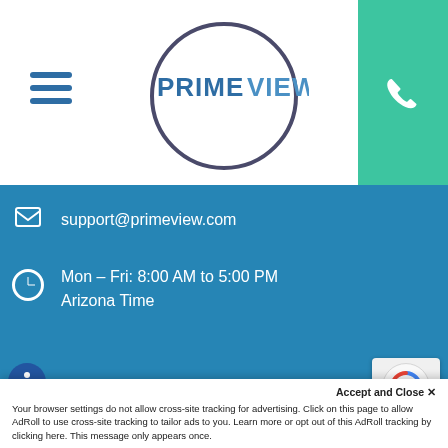[Figure (logo): PrimeView logo with circle, hamburger menu icon, and phone button on teal background]
support@primeview.com
Mon – Fri: 8:00 AM to 5:00 PM Arizona Time
© 2022 PrimeView. All Rights Reserved.
Privacy Policy
1717 N 77th St #4 Scottsdale, AZ 85257 |
480-800-4668
Accept and Close ✕
Your browser settings do not allow cross-site tracking for advertising. Click on this page to allow AdRoll to use cross-site tracking to tailor ads to you. Learn more or opt out of this AdRoll tracking by clicking here. This message only appears once.